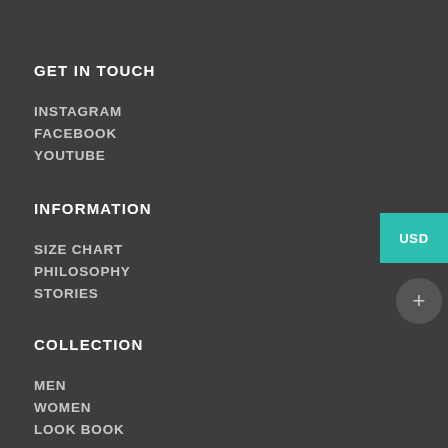GET IN TOUCH
INSTAGRAM
FACEBOOK
YOUTUBE
INFORMATION
SIZE CHART
PHILOSOPHY
STORIES
COLLECTION
MEN
WOMEN
LOOK BOOK
SERVICES